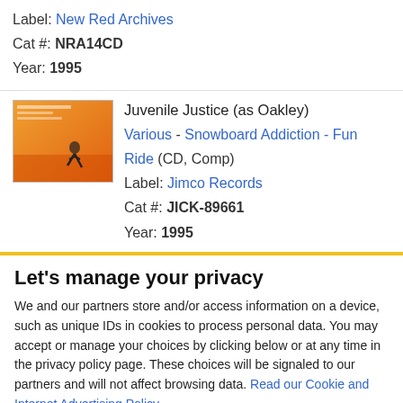Label: New Red Archives
Cat #: NRA14CD
Year: 1995
[Figure (photo): Album cover thumbnail - orange/warm toned snowboard image]
Juvenile Justice (as Oakley)
Various - Snowboard Addiction - Fun Ride (CD, Comp)
Label: Jimco Records
Cat #: JICK-89661
Year: 1995
[Figure (photo): Album cover thumbnail - orange/red with figure playing guitar]
Juvenile Justice (as Oakley)
Various - Hardcore Breakout USA 1, 2, 3,...
Label: New Red Archives
Let's manage your privacy
We and our partners store and/or access information on a device, such as unique IDs in cookies to process personal data. You may accept or manage your choices by clicking below or at any time in the privacy policy page. These choices will be signaled to our partners and will not affect browsing data. Read our Cookie and Internet Advertising Policy